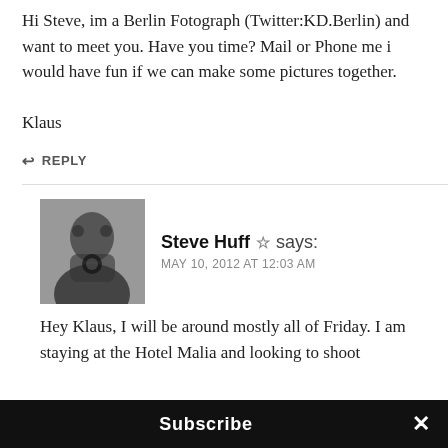Hi Steve, im a Berlin Fotograph (Twitter:KD.Berlin) and want to meet you. Have you time? Mail or Phone me i would have fun if we can make some pictures together.

Klaus
↩ REPLY
[Figure (photo): Black and white photo of Steve Huff holding a camera]
Steve Huff ☆ says:
MAY 10, 2012 AT 12:03 AM
Hey Klaus, I will be around mostly all of Friday. I am staying at the Hotel Malia and looking to shoot
Subscribe